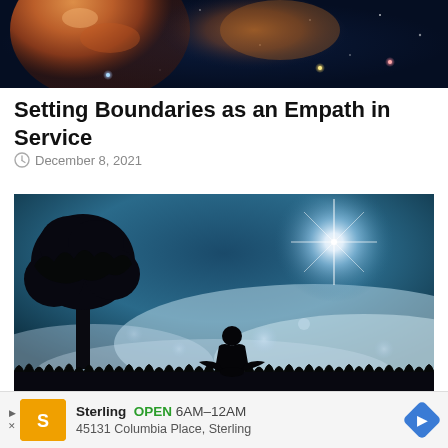[Figure (photo): Cosmic/space themed image showing a face-like nebula or planet with colorful orange and blue hues against a dark star-filled sky.]
Setting Boundaries as an Empath in Service
December 8, 2021
[Figure (photo): Silhouette of a person meditating in lotus position beside a large tree, against a dreamy night sky with glowing clouds and a bright star/light burst in the upper right.]
Sterling  OPEN  6AM–12AM
45131 Columbia Place, Sterling